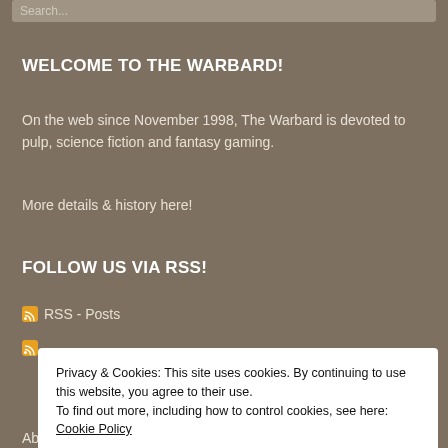Search...
WELCOME TO THE WARBARD!
On the web since November 1998, The Warbard is devoted to pulp, science fiction and fantasy gaming.
More details & history here!
FOLLOW US VIA RSS!
RSS - Posts
Privacy & Cookies: This site uses cookies. By continuing to use this website, you agree to their use. To find out more, including how to control cookies, see here: Cookie Policy
Close and accept
About